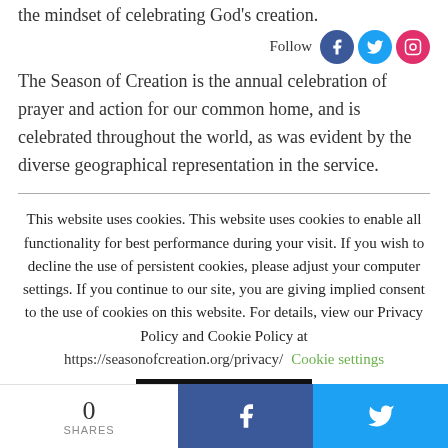the mindset of celebrating God's creation.
Follow
The Season of Creation is the annual celebration of prayer and action for our common home, and is celebrated throughout the world, as was evident by the diverse geographical representation in the service.
This website uses cookies. This website uses cookies to enable all functionality for best performance during your visit. If you wish to decline the use of persistent cookies, please adjust your computer settings. If you continue to our site, you are giving implied consent to the use of cookies on this website. For details, view our Privacy Policy and Cookie Policy at https://seasonofcreation.org/privacy/ Cookie settings
ACCEPT
0 SHARES